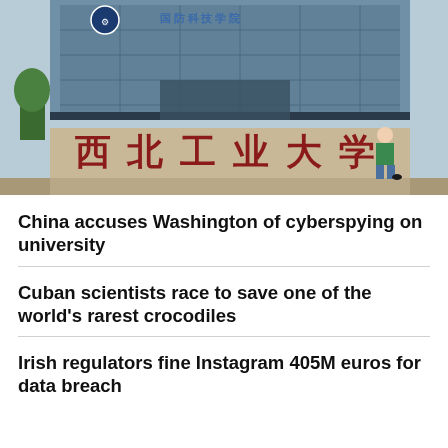[Figure (photo): Exterior of Northwestern Polytechnical University (西北工业大学) in China, showing the building facade with Chinese characters on the exterior wall and a woman walking by wearing a mask and colorful outfit]
China accuses Washington of cyberspying on university
Cuban scientists race to save one of the world's rarest crocodiles
Irish regulators fine Instagram 405M euros for data breach